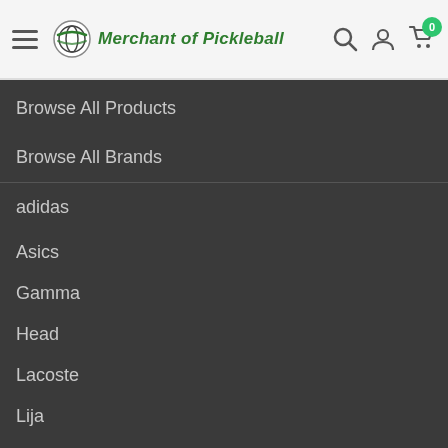Merchant of Pickleball
Browse All Products
Browse All Brands
adidas
Asics
Gamma
Head
Lacoste
Lija
Nike